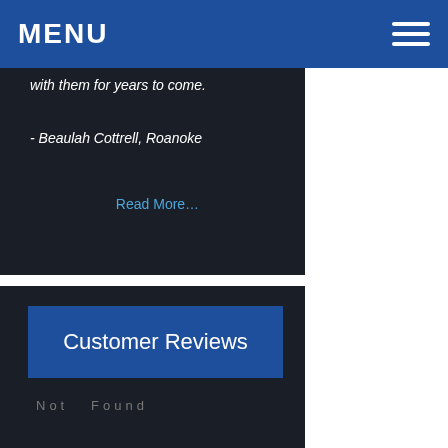MENU
with them for years to come.
- Beaulah Cottrell, Roanoke
Read More…
Customer Reviews
Not  Found